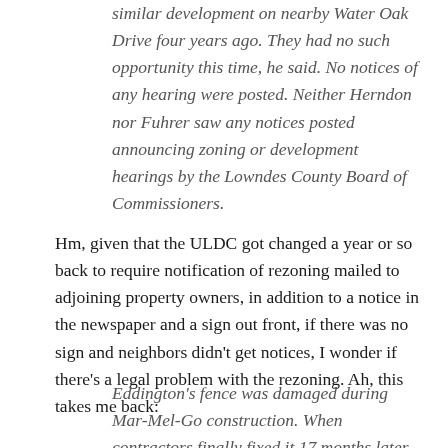similar development on nearby Water Oak Drive four years ago. They had no such opportunity this time, he said. No notices of any hearing were posted. Neither Herndon nor Fuhrer saw any notices posted announcing zoning or development hearings by the Lowndes County Board of Commissioners.
Hm, given that the ULDC got changed a year or so back to require notification of rezoning mailed to adjoining property owners, in addition to a notice in the newspaper and a sign out front, if there was no sign and neighbors didn't get notices, I wonder if there's a legal problem with the rezoning. Ah, this takes me back:
Eddington's fence was damaged during Mar-Mel-Go construction. When contractors finally fixed it 17 months later, he said his wife asked about the gate that